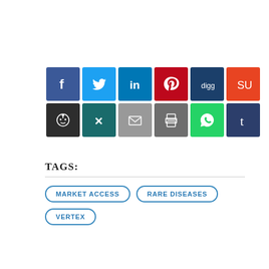[Figure (other): Social media sharing icons in a 2-row grid: Facebook, Twitter, LinkedIn, Pinterest, Digg, StumbleUpon (top row); Reddit, XING, Email, Print, WhatsApp, Tumblr (bottom row)]
TAGS:
MARKET ACCESS
RARE DISEASES
VERTEX
RELATED POSTS